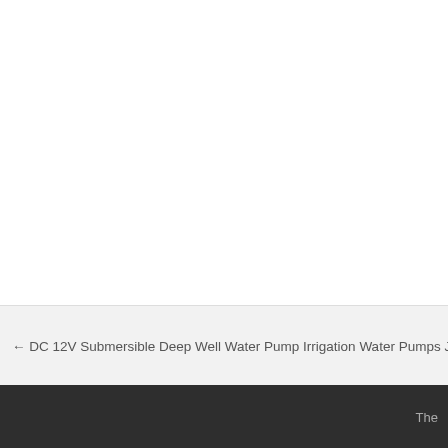← DC 12V Submersible Deep Well Water Pump Irrigation Water Pumps JF
The